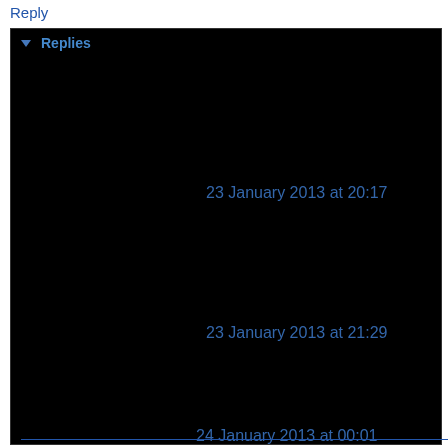Reply
▼ Replies
23 January 2013 at 20:17
23 January 2013 at 21:29
24 January 2013 at 00:01